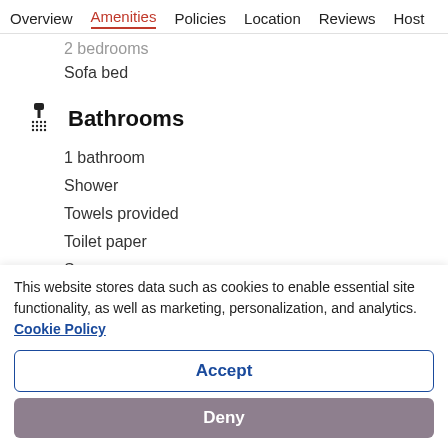Overview  Amenities  Policies  Location  Reviews  Host
2 bedrooms
Sofa bed
Bathrooms
1 bathroom
Shower
Towels provided
Toilet paper
Soap
This website stores data such as cookies to enable essential site functionality, as well as marketing, personalization, and analytics. Cookie Policy
Accept
Deny